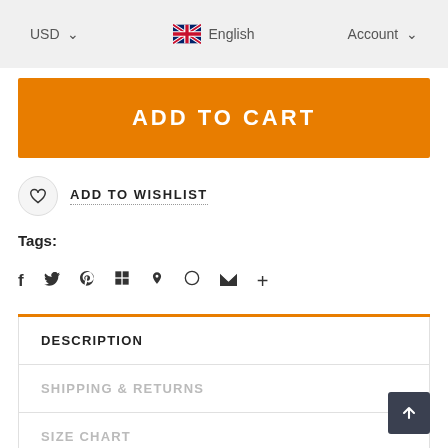USD   English   Account
ADD TO CART
ADD TO WISHLIST
Tags:
Social share icons: f, twitter, pinterest, grid, bookmark, circle, mail, plus
DESCRIPTION
SHIPPING & RETURNS
SIZE CHART